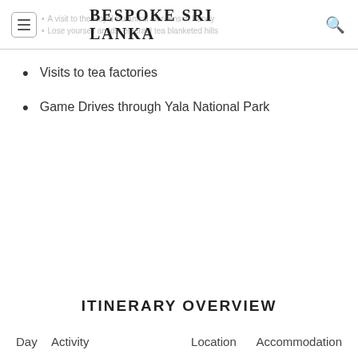Bespoke Sri Lanka
Visits to tea factories
Game Drives through Yala National Park
ITINERARY OVERVIEW
| Day | Activity | Location | Accommodation |
| --- | --- | --- | --- |